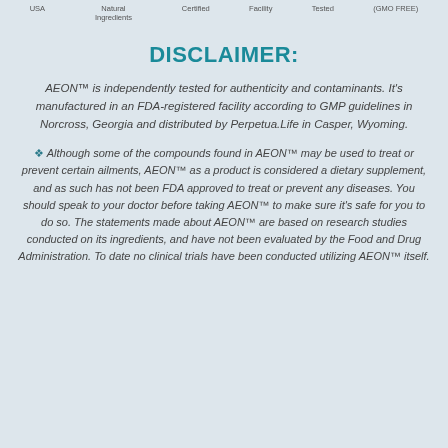USA   Natural Ingredients   Certified   Facility   Tested   (GMO FREE)
DISCLAIMER:
AEON™ is independently tested for authenticity and contaminants. It's manufactured in an FDA-registered facility according to GMP guidelines in Norcross, Georgia and distributed by Perpetua.Life in Casper, Wyoming.
❖ Although some of the compounds found in AEON™ may be used to treat or prevent certain ailments, AEON™ as a product is considered a dietary supplement, and as such has not been FDA approved to treat or prevent any diseases. You should speak to your doctor before taking AEON™ to make sure it's safe for you to do so. The statements made about AEON™ are based on research studies conducted on its ingredients, and have not been evaluated by the Food and Drug Administration. To date no clinical trials have been conducted utilizing AEON™ itself.